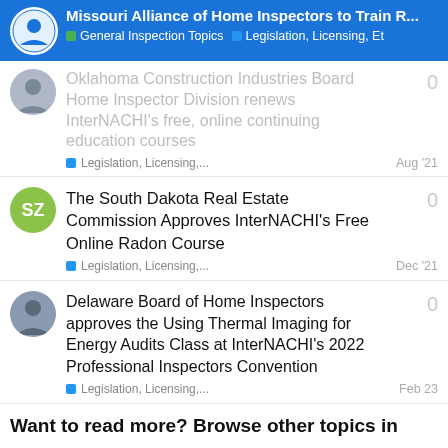Missouri Alliance of Home Inspectors to Train R... | General Inspection Topics | Legislation, Licensing, Et
Oklahoma Construction Industries Board Home Inspector Division renews InterNACHI's free, online continuing education courses
Legislation, Licensing,... Aug '21  0
The South Dakota Real Estate Commission Approves InterNACHI's Free Online Radon Course
Legislation, Licensing,... Dec '21  0
Delaware Board of Home Inspectors approves the Using Thermal Imaging for Energy Audits Class at InterNACHI's 2022 Professional Inspectors Convention
Legislation, Licensing,... Feb 23  0
Want to read more? Browse other topics in